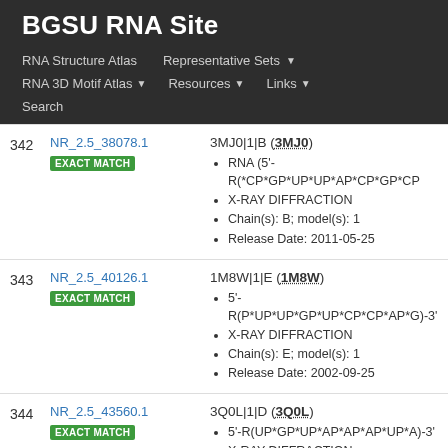BGSU RNA Site
RNA Structure Atlas | Representative Sets ▼ | RNA 3D Motif Atlas ▼ | Resources ▼ | Links ▼ | Search
| # | ID | Detail |
| --- | --- | --- |
| 342 | NR_2.5_38078.1 EXACT MATCH | 3MJ0|1|B (3MJ0) • RNA (5'-R(*CP*GP*UP*UP*AP*CP*GP*CP... • X-RAY DIFFRACTION • Chain(s): B; model(s): 1 • Release Date: 2011-05-25 |
| 343 | NR_2.5_40126.1 EXACT MATCH | 1M8W|1|E (1M8W) • 5'-R(P*UP*UP*GP*UP*CP*CP*AP*G)-3' • X-RAY DIFFRACTION • Chain(s): E; model(s): 1 • Release Date: 2002-09-25 |
| 344 | NR_2.5_43560.1 EXACT MATCH | 3Q0L|1|D (3Q0L) • 5'-R(UP*GP*UP*AP*AP*AP*UP*A)-3' • X-RAY DIFFRACTION |